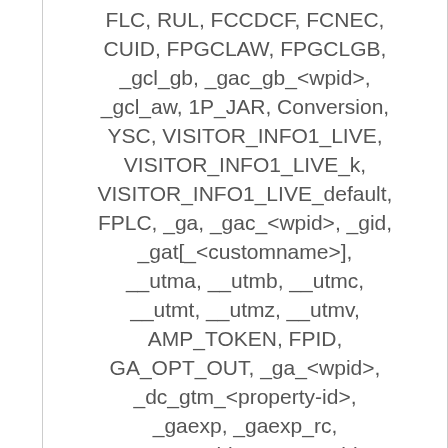FLC, RUL, FCCDCF, FCNEC, CUID, FPGCLAW, FPGCLGB, _gcl_gb, _gac_gb_<wpid>, _gcl_aw, 1P_JAR, Conversion, YSC, VISITOR_INFO1_LIVE, VISITOR_INFO1_LIVE_k, VISITOR_INFO1_LIVE_default, FPLC, _ga, _gac_<wpid>, _gid, _gat[_<customname>], __utma, __utmb, __utmc, __utmt, __utmz, __utmv, AMP_TOKEN, FPID, GA_OPT_OUT, _ga_<wpid>, _dc_gtm_<property-id>, _gaexp, _gaexp_rc, _opt_awcid, _opt_awmid, _opt_awgid, _opt_awkid,